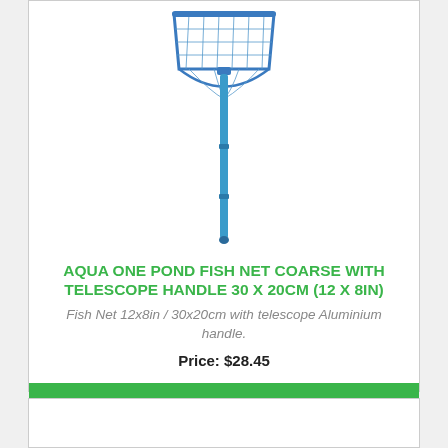[Figure (photo): A blue fish net with a long telescoping aluminium handle, net head at top and handle pointing downward]
AQUA ONE POND FISH NET COARSE WITH TELESCOPE HANDLE 30 X 20CM (12 X 8IN)
Fish Net 12x8in / 30x20cm with telescope Aluminium handle.
Price: $28.45
BUY NOW